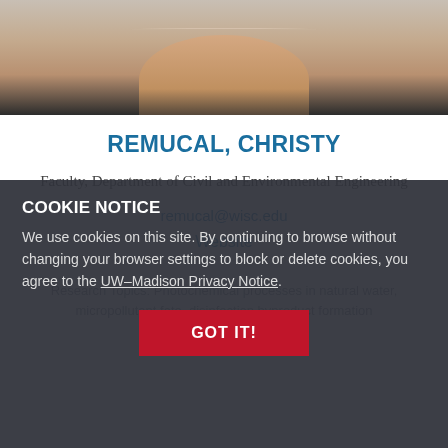[Figure (photo): Headshot photo of Christy Remucal, cropped to show neck and lower face area]
REMUCAL, CHRISTY
Faculty, Department of Civil and Environmental Engineering
remucal@wisc.edu
Website
Research Topics: Photochemical processes in natural water, micropollutant fate, disinfection byproduct formation
COOKIE NOTICE
We use cookies on this site. By continuing to browse without changing your browser settings to block or delete cookies, you agree to the UW–Madison Privacy Notice.
GOT IT!